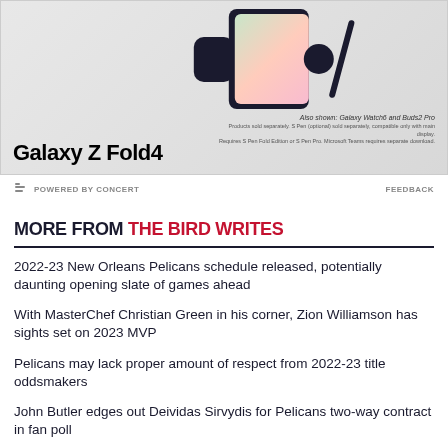[Figure (photo): Samsung Galaxy Z Fold4 advertisement showing the phone, Galaxy Watch6 and Buds2 Pro products on a light grey background. Bottom left shows 'Galaxy Z Fold4' branding. Right side shows 'Also shown: Galaxy Watch6 and Buds2 Pro' with fine print disclaimer text.]
POWERED BY CONCERT    FEEDBACK
MORE FROM THE BIRD WRITES
2022-23 New Orleans Pelicans schedule released, potentially daunting opening slate of games ahead
With MasterChef Christian Green in his corner, Zion Williamson has sights set on 2023 MVP
Pelicans may lack proper amount of respect from 2022-23 title oddsmakers
John Butler edges out Deividas Sirvydis for Pelicans two-way contract in fan poll
Reacts Survey: Which Summer Pelican should be front-runner for two-way contract?